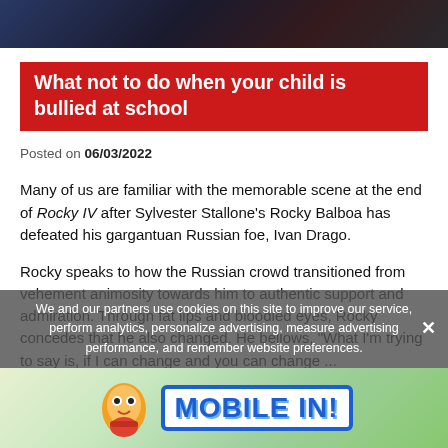[Figure (photo): Dark partial image at top of page, showing a scene with blurred/dark colors]
What not to do when your child is bullied at school
Posted on 06/03/2022
Many of us are familiar with the memorable scene at the end of Rocky IV after Sylvester Stallone's Rocky Balboa has defeated his gargantuan Russian foe, Ivan Drago.
Rocky speaks to how the Russian crowd transitioned from vehement animosity towards him to authentic support and admiration. Through fat lips and bloodied eyes, Rocky concedes that he also changed. He bellows, "What I'm trying to say is, if I can change and you can change ... everybody can change."
[Figure (screenshot): Cookie consent overlay banner with text and an advertisement banner for MOBILE IN! at the bottom]